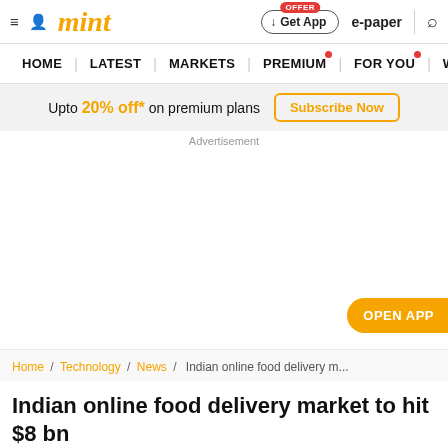mint — Get App | e-paper | search
HOME | LATEST | MARKETS | PREMIUM | FOR YOU | WA
Upto 20% off* on premium plans  Subscribe Now
Advertisement
OPEN APP
Home / Technology / News / Indian online food delivery m...
Indian online food delivery market to hit $8 bn